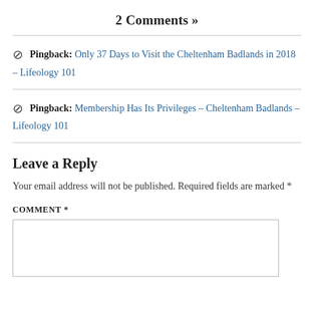2 Comments »
Pingback: Only 37 Days to Visit the Cheltenham Badlands in 2018 – Lifeology 101
Pingback: Membership Has Its Privileges – Cheltenham Badlands – Lifeology 101
Leave a Reply
Your email address will not be published. Required fields are marked *
COMMENT *